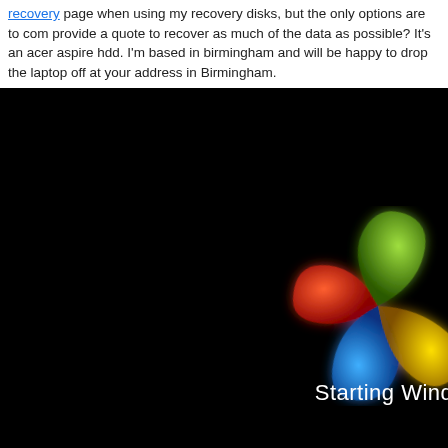recovery page when using my recovery disks, but the only options are to com provide a quote to recover as much of the data as possible? It's an acer aspire hdd. I'm based in birmingham and will be happy to drop the laptop off at your address in Birmingham.
[Figure (screenshot): Screenshot of Windows 7 boot screen showing the Windows logo (four colored quadrants: red, green, blue, yellow) glowing on a black background with text 'Starting Windows' at the bottom right.]